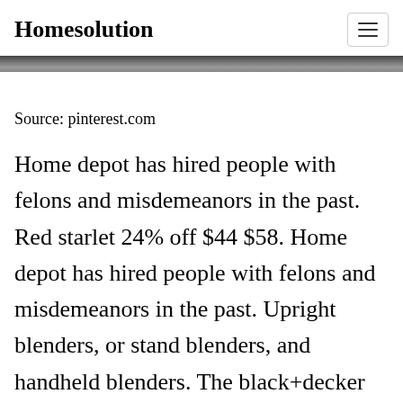Homesolution
Source: pinterest.com
Home depot has hired people with felons and misdemeanors in the past. Red starlet 24% off $44 $58. Home depot has hired people with felons and misdemeanors in the past. Upright blenders, or stand blenders, and handheld blenders. The black+decker powercrush digital blender with quiet